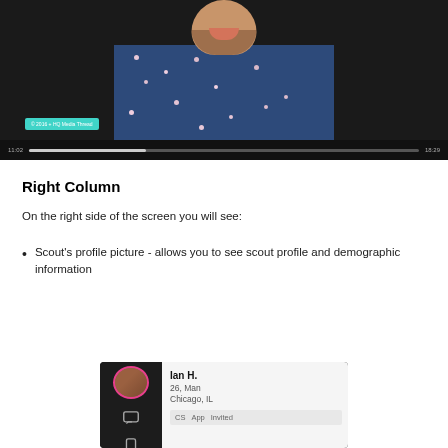[Figure (screenshot): Video player screenshot showing a man in a floral blue shirt laughing, with a teal watermark in the bottom-left corner of the video frame and a progress bar at the bottom showing playback at approximately 11:02 out of 18:29.]
Right Column
On the right side of the screen you will see:
Scout's profile picture - allows you to see scout profile and demographic information
[Figure (screenshot): Mobile app screenshot showing a profile card for 'Ian H.' with age 26, Man, Chicago, IL. A circular avatar with a pink/red border is shown on the dark left sidebar alongside chat and phone icons. The right panel shows tags for CS, App, and Invited.]